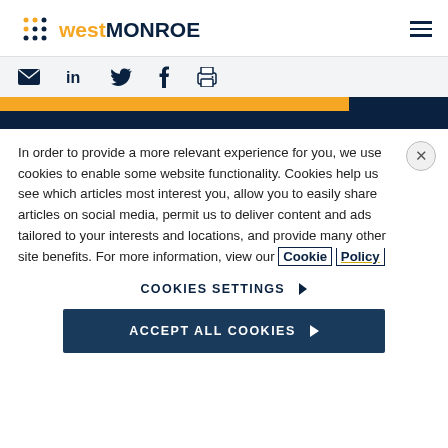westMONROE
[Figure (logo): West Monroe logo with dot-grid icon, 'west' in gold and 'MONROE' in dark navy, hamburger menu icon on the right]
[Figure (infographic): Social sharing icon bar with email, LinkedIn, Twitter, Facebook, and print icons on a light gray background]
[Figure (photo): Yellow and dark navy banner strip]
In order to provide a more relevant experience for you, we use cookies to enable some website functionality. Cookies help us see which articles most interest you, allow you to easily share articles on social media, permit us to deliver content and ads tailored to your interests and locations, and provide many other site benefits. For more information, view our Cookie Policy
COOKIES SETTINGS ▶
ACCEPT ALL COOKIES ▶